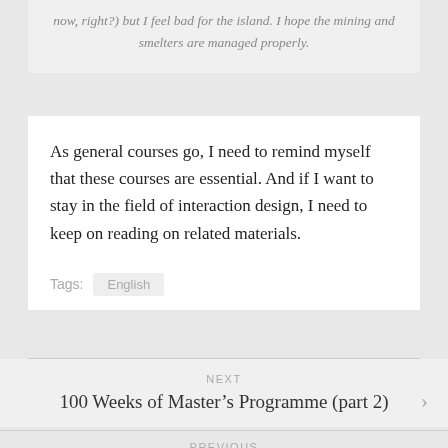now, right?) but I feel bad for the island. I hope the mining and smelters are managed properly.
As general courses go, I need to remind myself that these courses are essential. And if I want to stay in the field of interaction design, I need to keep on reading on related materials.
Tags: English
NEXT
100 Weeks of Master's Programme (part 2)
PREVIOUS
Delapan Tahun Berlalu